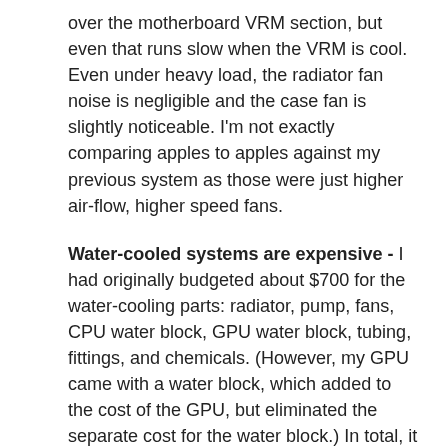over the motherboard VRM section, but even that runs slow when the VRM is cool. Even under heavy load, the radiator fan noise is negligible and the case fan is slightly noticeable. I'm not exactly comparing apples to apples against my previous system as those were just higher air-flow, higher speed fans.
Water-cooled systems are expensive - I had originally budgeted about $700 for the water-cooling parts: radiator, pump, fans, CPU water block, GPU water block, tubing, fittings, and chemicals. (However, my GPU came with a water block, which added to the cost of the GPU, but eliminated the separate cost for the water block.) In total, it turned out to be about $1000. This is a simple open-loop solution. Just a single pump/reservoir combo and one loop from the radiator to the pump to the GPU to the CPU and back to the radiator. The drain valve and fittings for that added $30-40, and the extensions and other fittings to make everything line up cost another $50-60. Out of fear of having to deal with leaks, I went with a more expensive pump, radiator, and fittings than I could